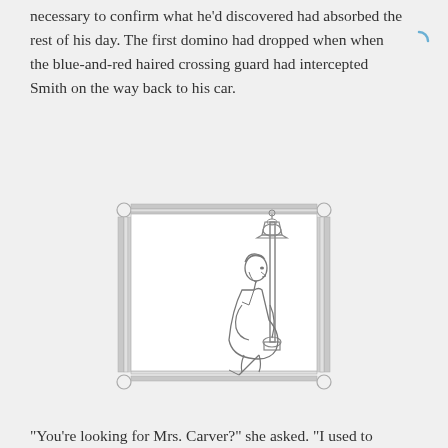necessary to confirm what he'd discovered had absorbed the rest of his day. The first domino had dropped when when the blue-and-red haired crossing guard had intercepted Smith on the way back to his car.
[Figure (illustration): Pencil sketch illustration of a person standing next to a decorative street lamp post, looking upward. The figure is wearing a jacket and holding something at their side. The illustration is framed with an ornate rectangular border with column-like sides and corner circles.]
“You’re looking for Mrs. Carver?” she asked. “I used to